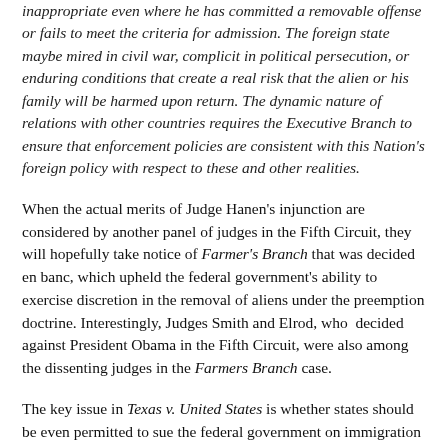inappropriate even where he has committed a removable offense or fails to meet the criteria for admission. The foreign state maybe mired in civil war, complicit in political persecution, or enduring conditions that create a real risk that the alien or his family will be harmed upon return. The dynamic nature of relations with other countries requires the Executive Branch to ensure that enforcement policies are consistent with this Nation's foreign policy with respect to these and other realities.
When the actual merits of Judge Hanen's injunction are considered by another panel of judges in the Fifth Circuit, they will hopefully take notice of Farmer's Branch that was decided en banc, which upheld the federal government's ability to exercise discretion in the removal of aliens under the preemption doctrine. Interestingly, Judges Smith and Elrod, who decided against President Obama in the Fifth Circuit, were also among the dissenting judges in the Farmers Branch case.
The key issue in Texas v. United States is whether states should be even permitted to sue the federal government on immigration enforcement policy. If President Obama loses in the Fifth Circuit on the actual appeal, and the Supreme Court upholds it, then this would be an open